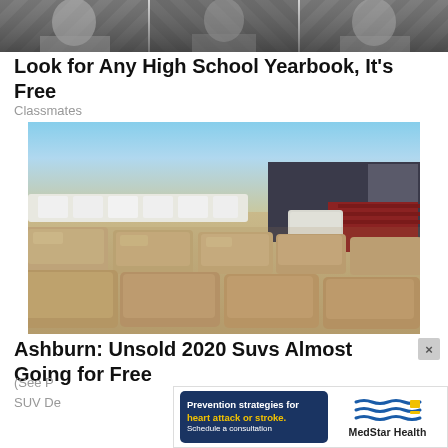[Figure (photo): Three grayscale portrait photos of people side by side at the top of the page]
Look for Any High School Yearbook, It's Free
Classmates
[Figure (photo): Large photo of a car lot packed with dusty/sandy SUVs and other vehicles, a warehouse building visible in the background under a blue sky]
Ashburn: Unsold 2020 Suvs Almost Going for Free
(See P...
SUV De...
[Figure (advertisement): MedStar Health advertisement banner with navy background on left reading 'Prevention strategies for heart attack or stroke. Schedule a consultation.' and MedStar Health logo on right]